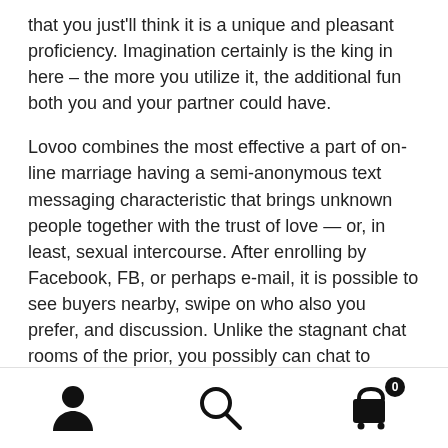that you just'll think it is a unique and pleasant proficiency. Imagination certainly is the king in here – the more you utilize it, the additional fun both you and your partner could have.
Lovoo combines the most effective a part of on-line marriage having a semi-anonymous text messaging characteristic that brings unknown people together with the trust of love — or, in least, sexual intercourse. After enrolling by Facebook, FB, or perhaps e-mail, it is possible to see buyers nearby, swipe on who also you prefer, and discussion. Unlike the stagnant chat rooms of the prior, you possibly can chat to strangers where ever you like within the consolation of your personal cellphone. Flirtlu helps to keep factor up to date with its beautiful
[icon: user] [icon: search] [icon: cart, badge: 0]